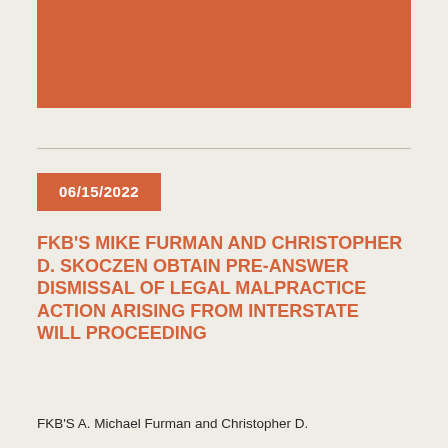[Figure (other): Orange/terracotta colored rectangular image block at the top of the page]
06/15/2022
FKB'S MIKE FURMAN AND CHRISTOPHER D. SKOCZEN OBTAIN PRE-ANSWER DISMISSAL OF LEGAL MALPRACTICE ACTION ARISING FROM INTERSTATE WILL PROCEEDING
FKB'S A. Michael Furman and Christopher D.